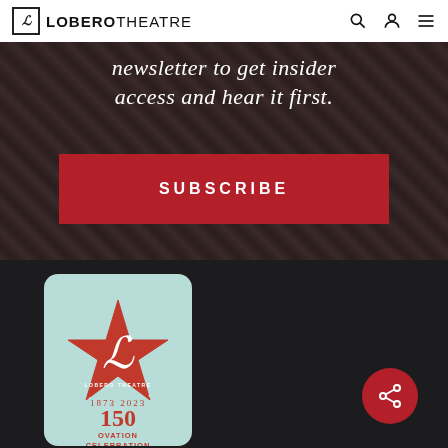LOBERO THEATRE
newsletter to get insider access and hear it first.
SUBSCRIBE
[Figure (logo): Lobero Theatre 150th Ovation Celebration anniversary logo. Red star badge with ornate L monogram on light blue rounded rectangle badge. Text: LOBERO THEATRE, 1873 2023, 150, OVATION CELEBRATION]
[Figure (other): Red circular share button with share icon (three connected dots)]